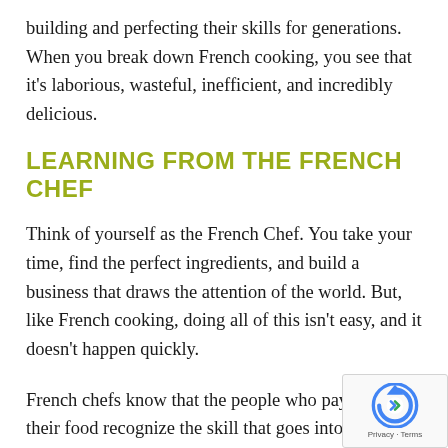building and perfecting their skills for generations. When you break down French cooking, you see that it's laborious, wasteful, inefficient, and incredibly delicious.
LEARNING FROM THE FRENCH CHEF
Think of yourself as the French Chef. You take your time, find the perfect ingredients, and build a business that draws the attention of the world. But, like French cooking, doing all of this isn't easy, and it doesn't happen quickly.
French chefs know that the people who pay to eat their food recognize the skill that goes into preparing it. The same should apply to your creative firm. If you do French-chef work, you'll want clients who recogniz difference between precise creativity and a McBusiness